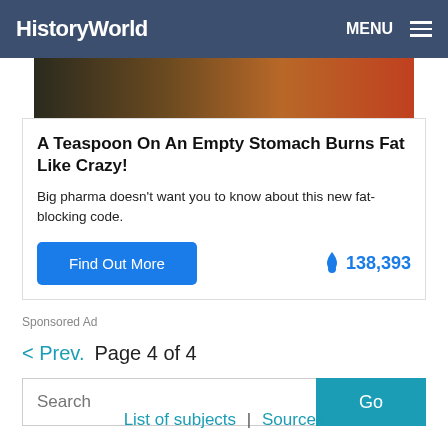HistoryWorld  MENU
[Figure (photo): Partial photo strip showing skin and food, cropped at top of ad]
A Teaspoon On An Empty Stomach Burns Fat Like Crazy!
Big pharma doesn't want you to know about this new fat-blocking code.
[Find Out More]  🔥 138,393
Sponsored Ad
< Prev.  Page 4 of 4
Search  Go
List of subjects |  Sources